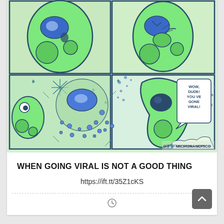[Figure (illustration): 4-panel comic strip showing cartoon microbe/bacteria characters. Top row: two panels showing a happy/nervous microbe with a nucleus. Bottom row: left panel shows a microbe bursting apart with virus particles flying out, right panel shows another microbe saying 'WOW, DUDE! YOU VE GONE VIRAL!' with sparkles. Social media handle @MICRONANOPICO shown at bottom.]
WHEN GOING VIRAL IS NOT A GOOD THING
https://ift.tt/35Z1cKS